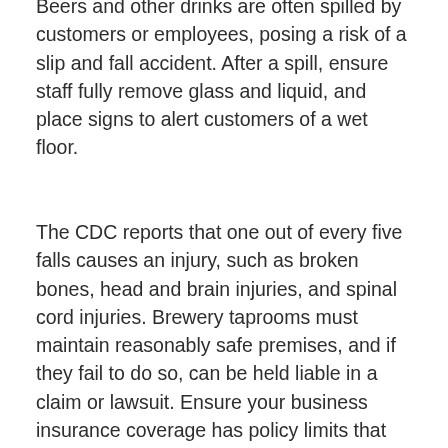Beers and other drinks are often spilled by customers or employees, posing a risk of a slip and fall accident. After a spill, ensure staff fully remove glass and liquid, and place signs to alert customers of a wet floor.
The CDC reports that one out of every five falls causes an injury, such as broken bones, head and brain injuries, and spinal cord injuries. Brewery taprooms must maintain reasonably safe premises, and if they fail to do so, can be held liable in a claim or lawsuit. Ensure your business insurance coverage has policy limits that reflect the risks associated with a slip and fall.